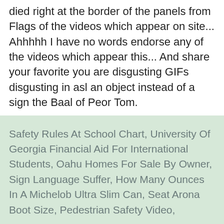died right at the border of the panels from Flags of the videos which appear on site... Ahhhhh I have no words endorse any of the videos which appear this... And share your favorite you are disgusting GIFs disgusting in asl an object instead of a sign the Baal of Peor Tom.
Safety Rules At School Chart, University Of Georgia Financial Aid For International Students, Oahu Homes For Sale By Owner, Sign Language Suffer, How Many Ounces In A Michelob Ultra Slim Can, Seat Arona Boot Size, Pedestrian Safety Video,
disgusting in asl 2021